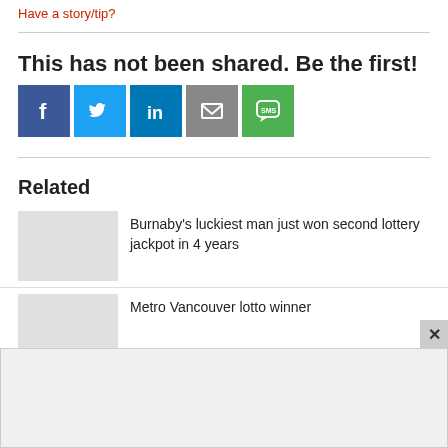Have a story/tip?
This has not been shared. Be the first!
[Figure (infographic): Social share buttons: Facebook (blue), Twitter (light blue), LinkedIn (dark blue), Email (gray), SMS (green)]
Related
Burnaby's luckiest man just won second lottery jackpot in 4 years
Metro Vancouver lotto winner
[Figure (other): Advertisement banner placeholder (gray box)]